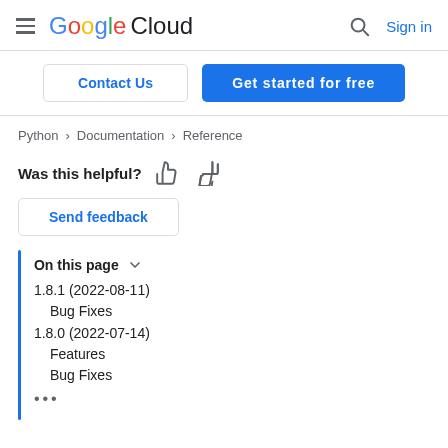Google Cloud — Sign in
Contact Us | Get started for free
Python > Documentation > Reference
Was this helpful? [thumbs up] [thumbs down]
Send feedback
On this page
1.8.1 (2022-08-11)
Bug Fixes
1.8.0 (2022-07-14)
Features
Bug Fixes
...